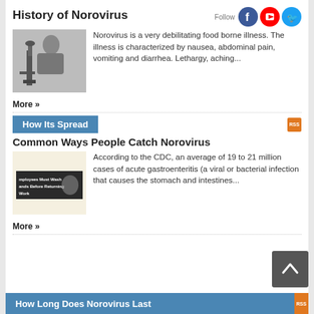History of Norovirus
[Figure (photo): Black and white photo of a person looking through a microscope]
Norovirus is a very debilitating food borne illness. The illness is characterized by nausea, abdominal pain, vomiting and diarrhea. Lethargy, aching...
More »
How Its Spread
Common Ways People Catch Norovirus
[Figure (photo): Photo of a handwashing sign reading Employees Must Wash Hands Before Returning to Work]
According to the CDC, an average of 19 to 21 million cases of acute gastroenteritis (a viral or bacterial infection that causes the stomach and intestines...
More »
How Long Does Norovirus Last